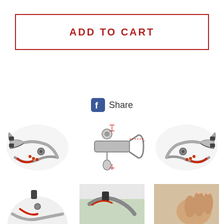ADD TO CART
Share
[Figure (photo): Locking pliers / welding clamp tool viewed from side angle with red handle accents]
[Figure (engineering-diagram): Technical diagram of welding clamp parts with measurement lines and annotations]
[Figure (photo): Locking pliers / welding clamp tool viewed from opposite side angle]
[Figure (photo): Locking pliers tool partial view from below]
[Figure (photo): Welding clamp in use on metal, partial view]
[Figure (photo): Close-up photo of hand holding or using a tool on material]